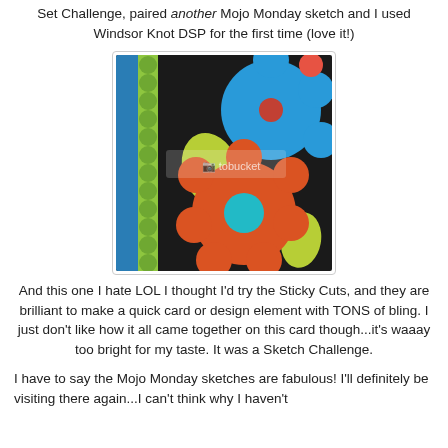Set Challenge, paired another Mojo Monday sketch and I used Windsor Knot DSP for the first time (love it!)
[Figure (photo): Close-up photo of a handmade card featuring glittery flower shapes in blue, orange/red, and yellow-green on a black background, with a blue and scalloped lime-green border on the left side. Photobucket watermark visible.]
And this one I hate LOL I thought I'd try the Sticky Cuts, and they are brilliant to make a quick card or design element with TONS of bling. I just don't like how it all came together on this card though...it's waaay too bright for my taste. It was a Sketch Challenge.
I have to say the Mojo Monday sketches are fabulous! I'll definitely be visiting there again...I can't think why I haven't